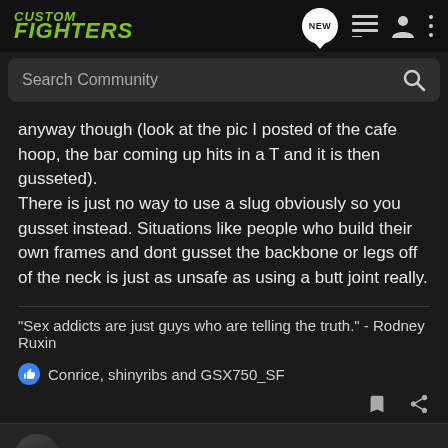CUSTOM FIGHTERS
anyway though (look at the pic I posted of the cafe hoop, the bar coming up hits in a T and it is then gusseted).
There is just no way to use a slug obviously so you gusset instead. Situations like people who build their own frames and dont gusset the backbone or legs off of the neck is just as unsafe as using a butt joint really.
"Sex addicts are just guys who are telling the truth." - Rodney Ruxin
Conrice, shinyribs and GSX750_SF
GSX750_SF · King Ding-A-Ling